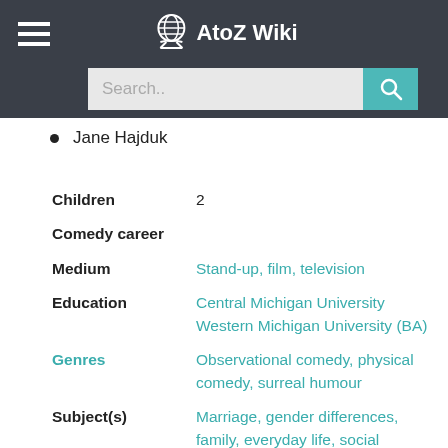AtoZ Wiki
Jane Hajduk
| Children | 2 |
| Comedy career |  |
| Medium | Stand-up, film, television |
| Education | Central Michigan University Western Michigan University (BA) |
| Genres | Observational comedy, physical comedy, surreal humour |
| Subject(s) | Marriage, gender differences, family, everyday life, social awkwardness, politics |
| Website | timallen.com |